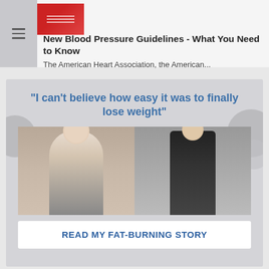New Blood Pressure Guidelines - What You Need to Know
The American Heart Association, the American...
[Figure (photo): Advertisement card with quote 'I can't believe how easy it was to finally lose weight', photos of Mike before and after, and a CTA button reading READ MY FAT-BURNING STORY]
Mike, before he discovered his metabolic syndrome; and Mike, now a Fat-Burning Machine.